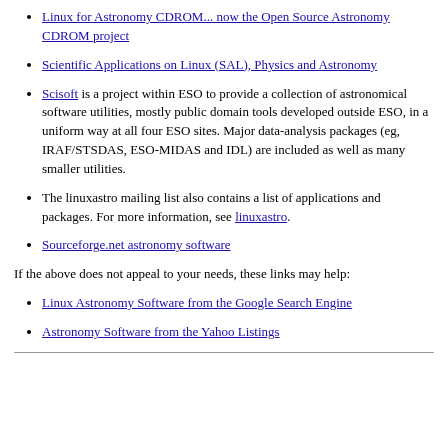Linux for Astronomy CDROM... now the Open Source Astronomy CDROM project
Scientific Applications on Linux (SAL), Physics and Astronomy
Scisoft is a project within ESO to provide a collection of astronomical software utilities, mostly public domain tools developed outside ESO, in a uniform way at all four ESO sites. Major data-analysis packages (eg, IRAF/STSDAS, ESO-MIDAS and IDL) are included as well as many smaller utilities.
The linuxastro mailing list also contains a list of applications and packages. For more information, see linuxastro.
Sourceforge.net astronomy software
If the above does not appeal to your needs, these links may help:
Linux Astronomy Software from the Google Search Engine
Astronomy Software from the Yahoo Listings